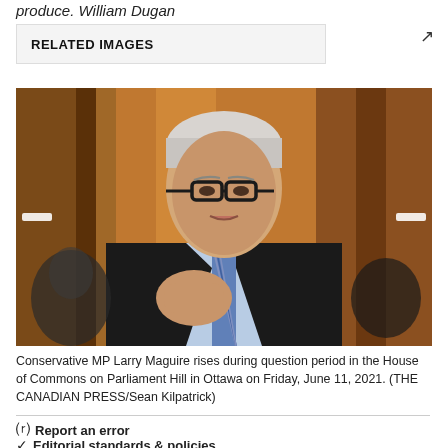produce. William Dugan
RELATED IMAGES
[Figure (photo): Conservative MP Larry Maguire speaking in the House of Commons, wearing a dark suit and blue striped tie, gesturing with his right hand, with warm wood-paneled background]
Conservative MP Larry Maguire rises during question period in the House of Commons on Parliament Hill in Ottawa on Friday, June 11, 2021. (THE CANADIAN PRESS/Sean Kilpatrick)
Report an error
Editorial standards & policies